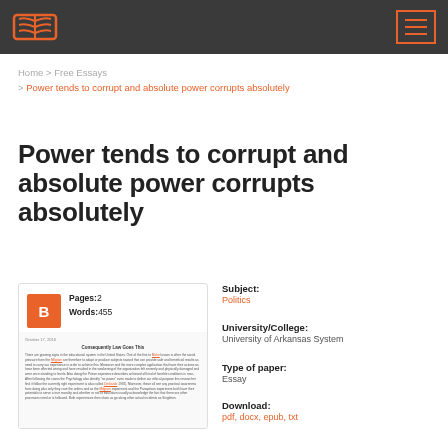Header bar with logo and navigation menu button
Home > Free Essays > Power tends to corrupt and absolute power corrupts absolutely
Power tends to corrupt and absolute power corrupts absolutely
[Figure (other): Essay card thumbnail with grade B badge, pages 2, words 455, and a preview of the essay text]
Subject: Politics
University/College: University of Arkansas System
Type of paper: Essay
Download: pdf, docx, epub, txt